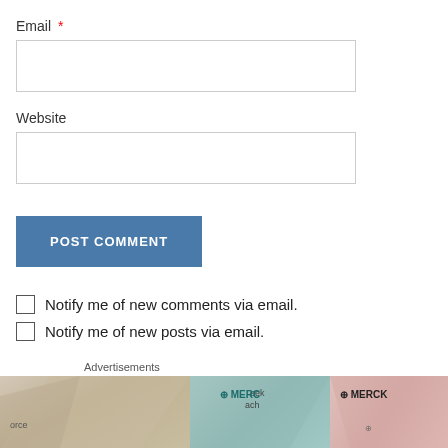Email *
Website
POST COMMENT
Notify me of new comments via email.
Notify me of new posts via email.
Advertisements
[Figure (photo): Advertisements banner showing overlapping pharmaceutical/Merck branded cards]